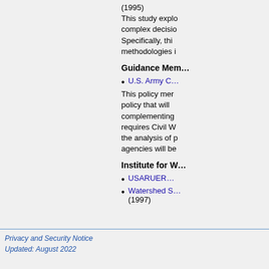(1995)
This study explores complex decision-making. Specifically, this methodologies i…
Guidance Mem…
U.S. Army C…
This policy memo establishes policy that will complementing requires Civil W… the analysis of p… agencies will be…
Institute for W…
USARUER…
Watershed S… (1997)
Privacy and Security Notice
Updated: August 2022